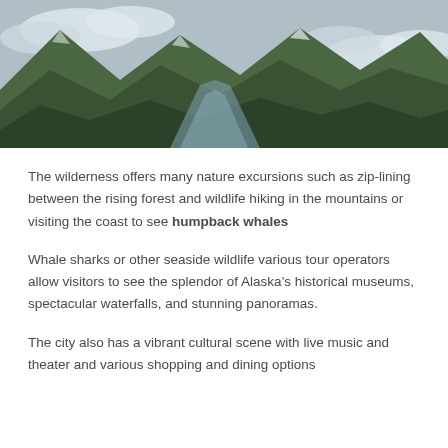[Figure (photo): Aerial photograph of a forested mountain landscape with a river or valley cutting through dense evergreen trees, with clouds and snow-capped peaks in the background.]
The wilderness offers many nature excursions such as zip-lining between the rising forest and wildlife hiking in the mountains or visiting the coast to see humpback whales
Whale sharks or other seaside wildlife various tour operators allow visitors to see the splendor of Alaska's historical museums, spectacular waterfalls, and stunning panoramas.
The city also has a vibrant cultural scene with live music and theater and various shopping and dining options